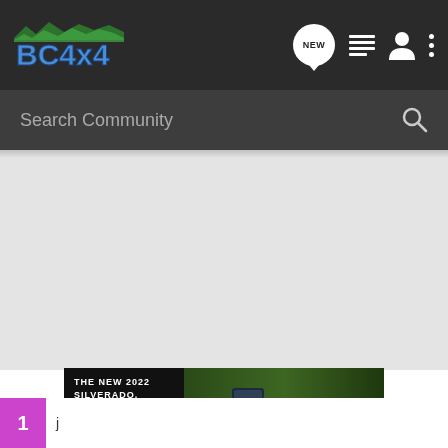[Figure (screenshot): BC4x4 community forum website screenshot showing navigation bar with logo, NEW chat bubble icon, list icon, user icon, and more options icon]
Search Community
[Figure (photo): Advertisement banner for The New 2022 Silverado by Chevrolet, showing a dark-colored pickup truck against a green landscape background with an Explore button]
THE NEW 2022 SILVERADO.
Explore